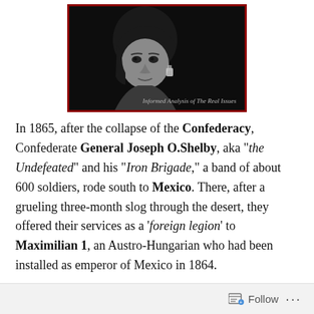[Figure (photo): Black and white photo of a woman's face against a dark background, with text 'Informed Analysis of The Real Issues' in the lower right. The image is framed with a dark red border.]
In 1865, after the collapse of the Confederacy, Confederate General Joseph O.Shelby, aka "the Undefeated" and his "Iron Brigade," a band of about 600 soldiers, rode south to Mexico. There, after a grueling three-month slog through the desert, they offered their services as a 'foreign legion'  to Maximilian 1, an Austro-Hungarian who had been installed as emperor of Mexico in 1864.
Continue reading →
Follow ···